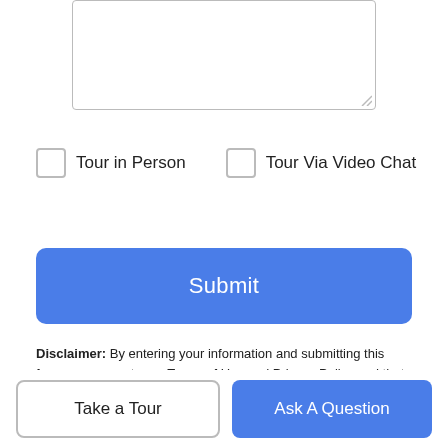[Figure (other): Text area input box (empty)]
Tour in Person
Tour Via Video Chat
Submit
Disclaimer: By entering your information and submitting this form, you agree to our Terms of Use and Privacy Policy and that you may be contacted by phone, text message and email about your inquiry.
© 2022 East Central Board of Realtors MLS. All rights reserved. IDX information is provided exclusively for consumers' personal, non-commercial use and may not be used for any purpose other than to identify prospective properties consumers may be interested in purchasing. Information is deemed reliable but is not
Take a Tour
Ask A Question